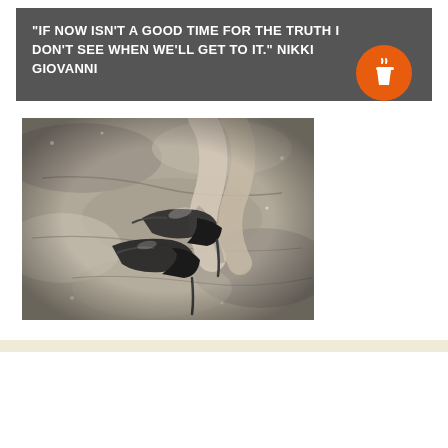“I LOVE YOU AS CERTAIN DARK THINGS ARE TO BE LOVED, IN SECRET BETWEEN THE SHADOW AND SOUL.” PABLO NERUDA
[Figure (photo): Black and white photograph of high heel shoes lying on a textured stone surface with a person’s leg visible in the background]
“IF NOW ISN’T A GOOD TIME FOR THE TRUTH I DON’T SEE WHEN WE’LL GET TO IT.” NIKKI GIOVANNI